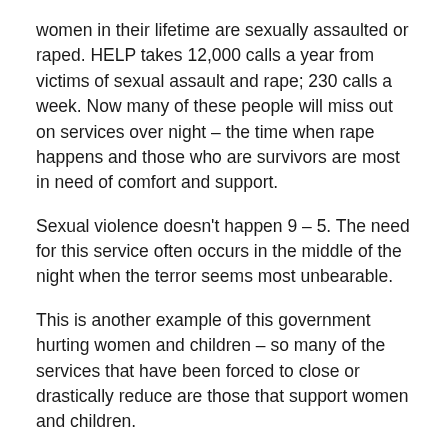women in their lifetime are sexually assaulted or raped. HELP takes 12,000 calls a year from victims of sexual assault and rape; 230 calls a week. Now many of these people will miss out on services over night – the time when rape happens and those who are survivors are most in need of comfort and support.
Sexual violence doesn't happen 9 – 5. The need for this service often occurs in the middle of the night when the terror seems most unbearable.
This is another example of this government hurting women and children – so many of the services that have been forced to close or drastically reduce are those that support women and children.
HELP aims to hold the integrity of a specialist service that is directing. Services are available however in